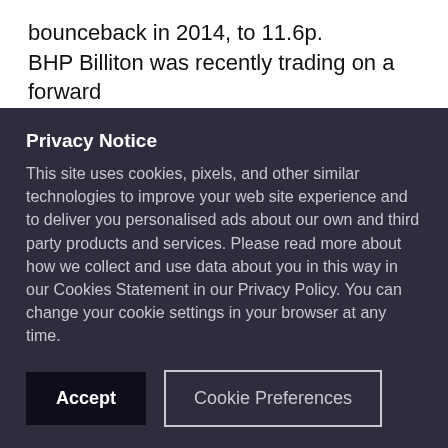bounceback in 2014, to 11.6p. BHP Billiton was recently trading on a forward multiple of 11.2, providing a decent discount to a
Privacy Notice
This site uses cookies, pixels, and other similar technologies to improve your web site experience and to deliver you personalised ads about our own and third party products and services. Please read more about how we collect and use data about you in this way in our Cookies Statement in our Privacy Policy. You can change your cookie settings in your browser at any time.